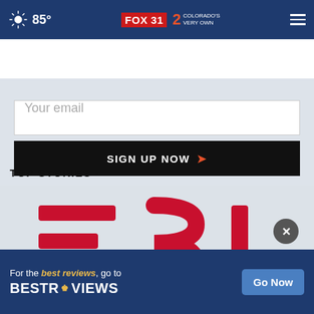85° FOX 31 2 COLORADO'S VERY OWN
Your email
SIGN UP NOW ›
TOP STORIES ›
[Figure (photo): Close-up of Tesla logo letters E S L in red on a light gray/white background]
[Figure (screenshot): BestReviews advertisement banner: 'For the best reviews, go to BESTREVIEWS' with a 'Go Now' button on a dark blue background]